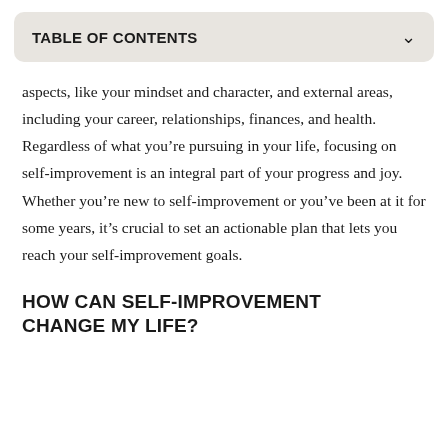TABLE OF CONTENTS
aspects, like your mindset and character, and external areas, including your career, relationships, finances, and health. Regardless of what you’re pursuing in your life, focusing on self-improvement is an integral part of your progress and joy. Whether you’re new to self-improvement or you’ve been at it for some years, it’s crucial to set an actionable plan that lets you reach your self-improvement goals.
HOW CAN SELF-IMPROVEMENT CHANGE MY LIFE?